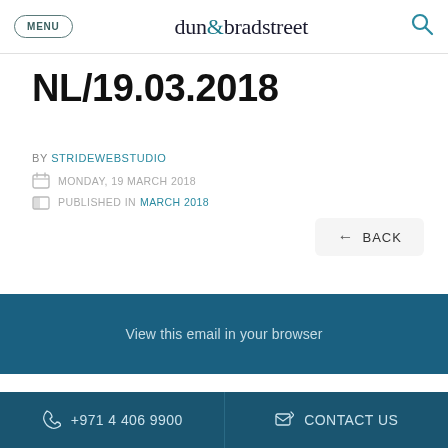MENU | dun&bradstreet | (search icon)
NL/19.03.2018
BY STRIDEWEBSTUDIO
MONDAY, 19 MARCH 2018
PUBLISHED IN MARCH 2018
← BACK
View this email in your browser
+971 4 406 9900 | CONTACT US